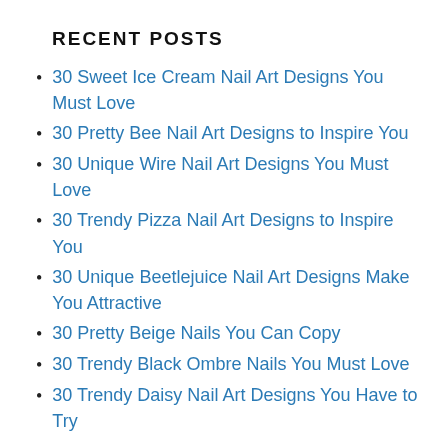RECENT POSTS
30 Sweet Ice Cream Nail Art Designs You Must Love
30 Pretty Bee Nail Art Designs to Inspire You
30 Unique Wire Nail Art Designs You Must Love
30 Trendy Pizza Nail Art Designs to Inspire You
30 Unique Beetlejuice Nail Art Designs Make You Attractive
30 Pretty Beige Nails You Can Copy
30 Trendy Black Ombre Nails You Must Love
30 Trendy Daisy Nail Art Designs You Have to Try